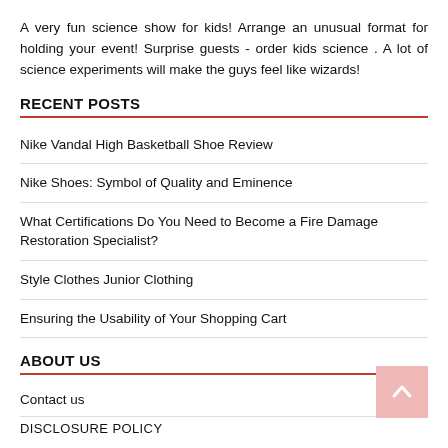A very fun science show for kids! Arrange an unusual format for holding your event! Surprise guests - order kids science . A lot of science experiments will make the guys feel like wizards!
RECENT POSTS
Nike Vandal High Basketball Shoe Review
Nike Shoes: Symbol of Quality and Eminence
What Certifications Do You Need to Become a Fire Damage Restoration Specialist?
Style Clothes Junior Clothing
Ensuring the Usability of Your Shopping Cart
ABOUT US
Contact us
DISCLOSURE POLICY